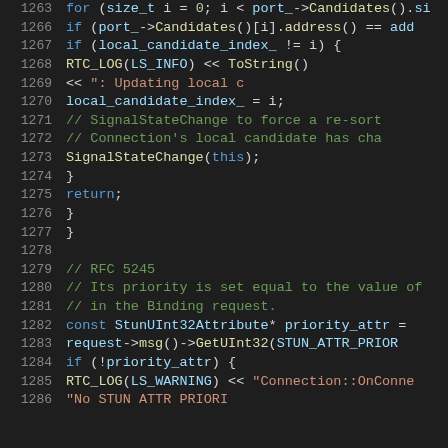[Figure (screenshot): Source code viewer showing C++ code lines 1263-1286 with syntax highlighting on dark background. Keywords in blue, identifiers in light blue, comments in green, strings in orange/red, punctuation in white.]